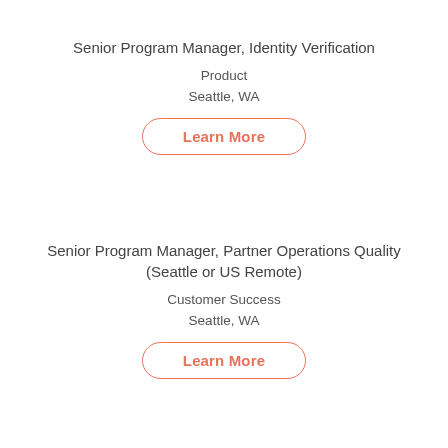Senior Program Manager, Identity Verification
Product
Seattle, WA
Learn More
Senior Program Manager, Partner Operations Quality (Seattle or US Remote)
Customer Success
Seattle, WA
Learn More